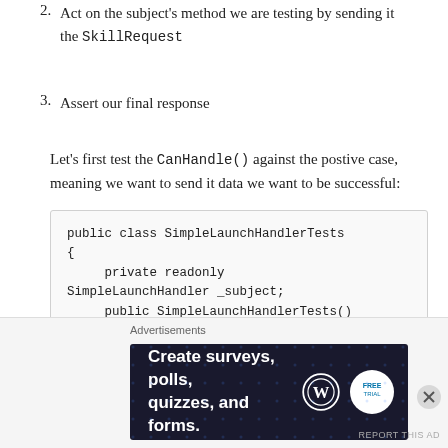2. Act on the subject's method we are testing by sending it the SkillRequest
3. Assert our final response
Let’s first test the CanHandle() against the postive case, meaning we want to send it data we want to be successful:
[Figure (screenshot): Code block showing C# class SimpleLaunchHandlerTests with private readonly SimpleLaunchHandler _subject field and constructor initializing _subject = new SimpleLaunchHandler();]
Advertisements
Create surveys, polls, quizzes, and forms.